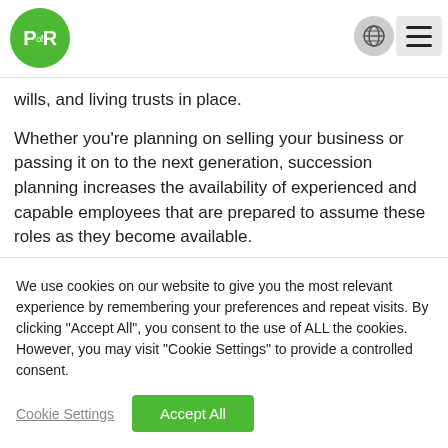[Figure (logo): PofR logo: green circle with white PR text and 'of' in small letters]
wills, and living trusts in place.
Whether you're planning on selling your business or passing it on to the next generation, succession planning increases the availability of experienced and capable employees that are prepared to assume these roles as they become available.
We use cookies on our website to give you the most relevant experience by remembering your preferences and repeat visits. By clicking "Accept All", you consent to the use of ALL the cookies. However, you may visit "Cookie Settings" to provide a controlled consent.